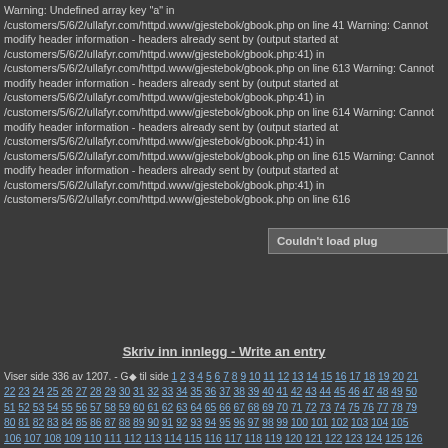Warning: Undefined array key "a" in /customers/5/6/2/ullafyr.com/httpd.www/gjestebok/gbook.php on line 41 Warning: Cannot modify header information - headers already sent by (output started at /customers/5/6/2/ullafyr.com/httpd.www/gjestebok/gbook.php:41) in /customers/5/6/2/ullafyr.com/httpd.www/gjestebok/gbook.php on line 613 Warning: Cannot modify header information - headers already sent by (output started at /customers/5/6/2/ullafyr.com/httpd.www/gjestebok/gbook.php:41) in /customers/5/6/2/ullafyr.com/httpd.www/gjestebok/gbook.php on line 614 Warning: Cannot modify header information - headers already sent by (output started at /customers/5/6/2/ullafyr.com/httpd.www/gjestebok/gbook.php:41) in /customers/5/6/2/ullafyr.com/httpd.www/gjestebok/gbook.php on line 615 Warning: Cannot modify header information - headers already sent by (output started at /customers/5/6/2/ullafyr.com/httpd.www/gjestebok/gbook.php:41) in /customers/5/6/2/ullafyr.com/httpd.www/gjestebok/gbook.php on line 616
[Figure (screenshot): Browser plugin error message: Couldn't load plug]
Skriv inn innlegg - Write an entry
Viser side 336 av 1207. - Gø til side 1 2 3 4 5 6 7 8 9 10 11 12 13 14 15 16 17 18 19 20 21 22 23 24 25 26 27 28 29 30 31 32 33 34 35 36 37 38 39 40 41 42 43 44 45 46 47 48 49 50 51 52 53 54 55 56 57 58 59 60 61 62 63 64 65 66 67 68 69 70 71 72 73 74 75 76 77 78 79 80 81 82 83 84 85 86 87 88 89 90 91 92 93 94 95 96 97 98 99 100 101 102 103 104 105 106 107 108 109 110 111 112 113 114 115 116 117 118 119 120 121 122 123 124 125 126